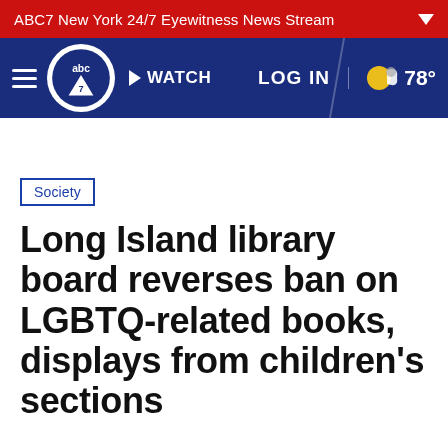ABC7 New York 24/7 Eyewitness News Stream
[Figure (logo): ABC7 navigation bar with hamburger menu, ABC7 logo, WATCH button, LOG IN link, and 78° weather]
Society
Long Island library board reverses ban on LGBTQ-related books, displays from children's sections